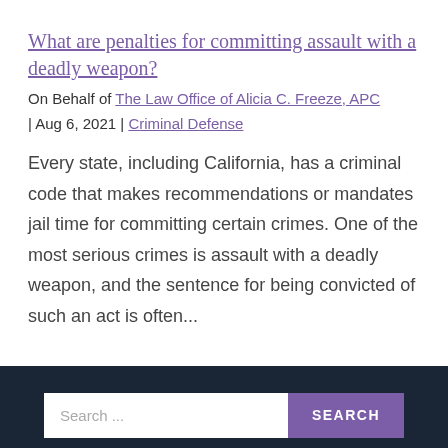What are penalties for committing assault with a deadly weapon?
On Behalf of The Law Office of Alicia C. Freeze, APC
| Aug 6, 2021 | Criminal Defense
Every state, including California, has a criminal code that makes recommendations or mandates jail time for committing certain crimes. One of the most serious crimes is assault with a deadly weapon, and the sentence for being convicted of such an act is often...
Search ...